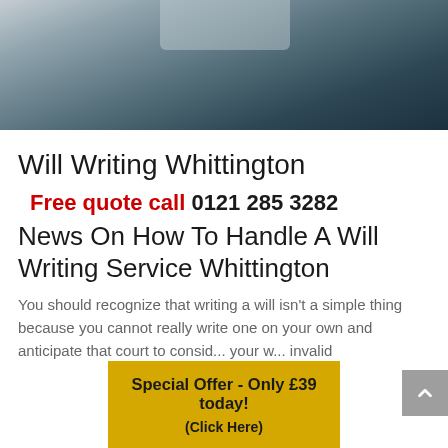[Figure (photo): Dark blurred hero image of a writing/desk scene, blue-grey tones]
Will Writing Whittington
Free quote call 0121 285 3282
News On How To Handle A Will Writing Service Whittington
You should recognize that writing a will isn't a simple thing because you cannot really write one on your own and anticipate that court to consider your w... invalid
Special Offer - Only £39 today! (Click Here)